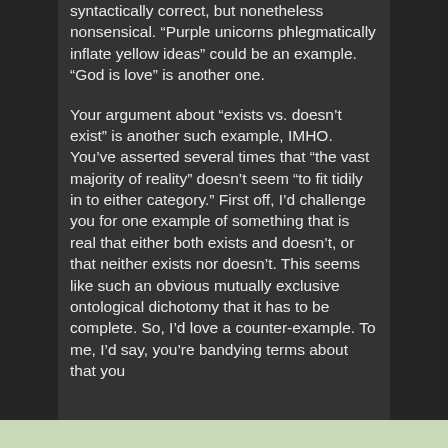syntactically correct, but nonetheless nonsensical. “Purple unicorns phlegmatically inflate yellow ideas” could be an example. “God is love” is another one.
Your argument about “exists vs. doesn’t exist” is another such example, IMHO. You’ve asserted several times that “the vast majority of reality” doesn’t seem “to fit tidily in to either category.” First off, I’d challenge you for one example of something that is real that either both exists and doesn’t, or that neither exists nor doesn’t. This seems like such an obvious mutually exclusive ontological dichotomy that it has to be complete. So, I’d love a counter-example. To me, I’d say, you’re bandying terms about that you